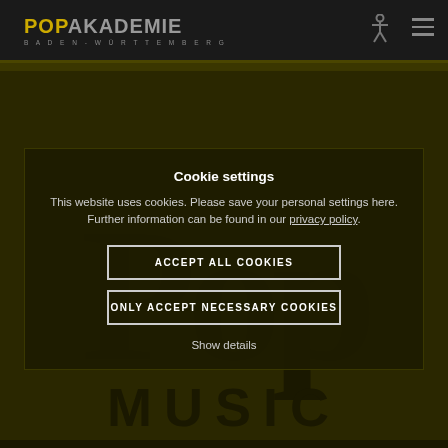POPAKADEMIE BADEN-WÜRTTEMBERG
[Figure (screenshot): Popakademie Baden-Württemberg website screenshot showing cookie settings dialog overlay on dark background with large 'Pop Music' logo text]
Cookie settings
This website uses cookies. Please save your personal settings here. Further information can be found in our privacy policy.
ACCEPT ALL COOKIES
ONLY ACCEPT NECESSARY COOKIES
Show details